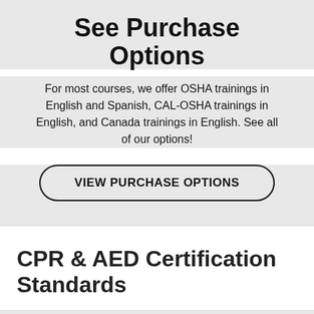See Purchase Options
For most courses, we offer OSHA trainings in English and Spanish, CAL-OSHA trainings in English, and Canada trainings in English. See all of our options!
VIEW PURCHASE OPTIONS
CPR & AED Certification Standards